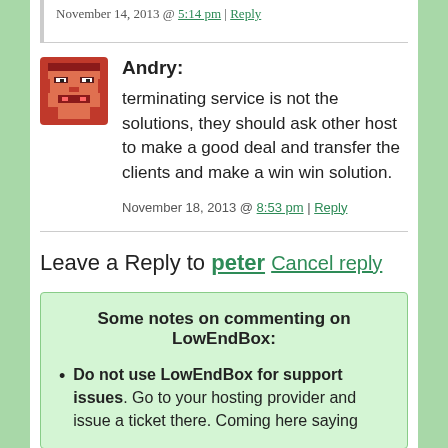November 14, 2013 @ 5:14 pm | Reply
[Figure (illustration): Pixel art avatar of a red/brown character with a face, minecraft-style]
Andry:
terminating service is not the solutions, they should ask other host to make a good deal and transfer the clients and make a win win solution.
November 18, 2013 @ 8:53 pm | Reply
Leave a Reply to peter Cancel reply
Some notes on commenting on LowEndBox:
Do not use LowEndBox for support issues. Go to your hosting provider and issue a ticket there. Coming here saying